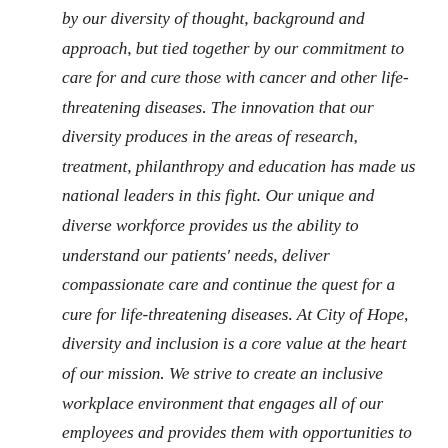by our diversity of thought, background and approach, but tied together by our commitment to care for and cure those with cancer and other life-threatening diseases. The innovation that our diversity produces in the areas of research, treatment, philanthropy and education has made us national leaders in this fight. Our unique and diverse workforce provides us the ability to understand our patients' needs, deliver compassionate care and continue the quest for a cure for life-threatening diseases. At City of Hope, diversity and inclusion is a core value at the heart of our mission. We strive to create an inclusive workplace environment that engages all of our employees and provides them with opportunities to develop and grow, both personally and professionally. Each day, the men and women